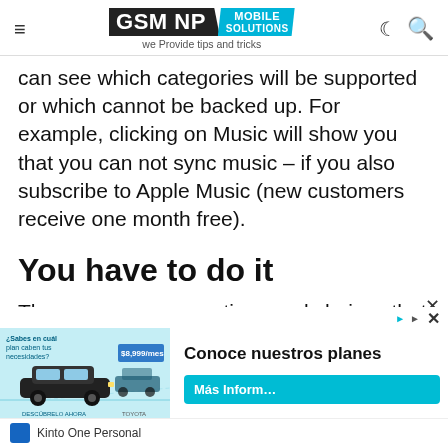GSM NP Mobile Solutions — we Provide tips and tricks
can see which categories will be supported or which cannot be backed up. For example, clicking on Music will show you that you can not sync music – if you also subscribe to Apple Music (new customers receive one month free).
You have to do it
There are so many options and choices that everything can get your backup. But the main
[Figure (screenshot): Advertisement banner for Kinto One Personal car subscription service. Shows car imagery, headline 'Conoce nuestros planes', and a teal 'Más Inform...' button. Includes Kinto One Personal logo at bottom.]